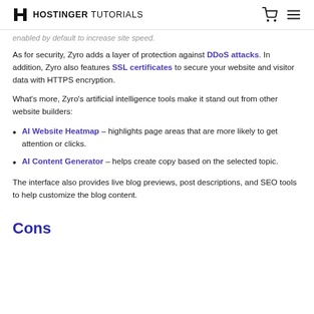HOSTINGER TUTORIALS
enabled by default to increase site speed.
As for security, Zyro adds a layer of protection against DDoS attacks. In addition, Zyro also features SSL certificates to secure your website and visitor data with HTTPS encryption.
What's more, Zyro's artificial intelligence tools make it stand out from other website builders:
AI Website Heatmap – highlights page areas that are more likely to get attention or clicks.
AI Content Generator – helps create copy based on the selected topic.
The interface also provides live blog previews, post descriptions, and SEO tools to help customize the blog content.
Cons